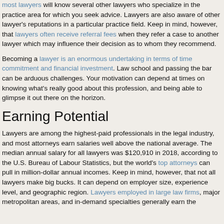most lawyers will know several other lawyers who specialize in the practice area for which you seek advice. Lawyers are also aware of other lawyer's reputations in a particular practice field. Keep in mind, however, that lawyers often receive referral fees when they refer a case to another lawyer which may influence their decision as to whom they recommend.
Becoming a lawyer is an enormous undertaking in terms of time commitment and financial investment. Law school and passing the bar can be arduous challenges. Your motivation can depend at times on knowing what's really good about this profession, and being able to glimpse it out there on the horizon.
Earning Potential
Lawyers are among the highest-paid professionals in the legal industry, and most attorneys earn salaries well above the national average. The median annual salary for all lawyers was $120,910 in 2018, according to the U.S. Bureau of Labour Statistics, but the world's top attorneys can pull in million-dollar annual incomes. Keep in mind, however, that not all lawyers make big bucks. It can depend on employer size, experience level, and geographic region. Lawyers employed in large law firms, major metropolitan areas, and in-demand specialties generally earn the